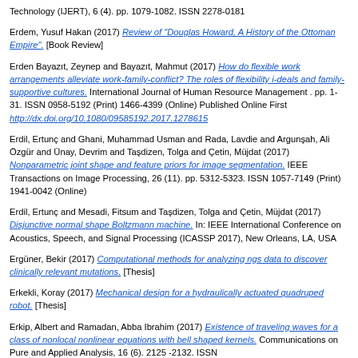Technology (IJERT), 6 (4). pp. 1079-1082. ISSN 2278-0181
Erdem, Yusuf Hakan (2017) Review of "Douglas Howard, A History of the Ottoman Empire". [Book Review]
Erden Bayazıt, Zeynep and Bayazıt, Mahmut (2017) How do flexible work arrangements alleviate work-family-conflict? The roles of flexibility i-deals and family-supportive cultures. International Journal of Human Resource Management . pp. 1-31. ISSN 0958-5192 (Print) 1466-4399 (Online) Published Online First http://dx.doi.org/10.1080/09585192.2017.1278615
Erdil, Ertunç and Ghani, Muhammad Usman and Rada, Lavdie and Argunşah, Ali Özgür and Ünay, Devrim and Taşdizen, Tolga and Çetin, Müjdat (2017) Nonparametric joint shape and feature priors for image segmentation. IEEE Transactions on Image Processing, 26 (11). pp. 5312-5323. ISSN 1057-7149 (Print) 1941-0042 (Online)
Erdil, Ertunç and Mesadi, Fitsum and Taşdizen, Tolga and Çetin, Müjdat (2017) Disjunctive normal shape Boltzmann machine. In: IEEE International Conference on Acoustics, Speech, and Signal Processing (ICASSP 2017), New Orleans, LA, USA
Ergüner, Bekir (2017) Computational methods for analyzing ngs data to discover clinically relevant mutations. [Thesis]
Erkekli, Koray (2017) Mechanical design for a hydraulically actuated quadruped robot. [Thesis]
Erkip, Albert and Ramadan, Abba Ibrahim (2017) Existence of traveling waves for a class of nonlocal nonlinear equations with bell shaped kernels. Communications on Pure and Applied Analysis, 16 (6). 2125 -2132. ISSN